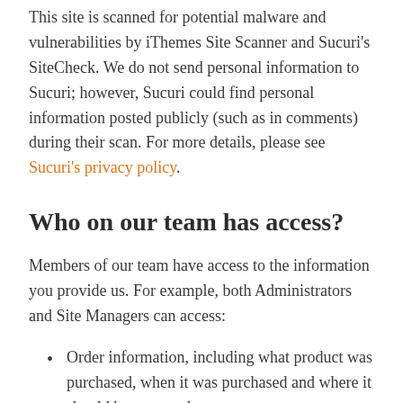This site is scanned for potential malware and vulnerabilities by iThemes Site Scanner and Sucuri's SiteCheck. We do not send personal information to Sucuri; however, Sucuri could find personal information posted publicly (such as in comments) during their scan. For more details, please see Sucuri's privacy policy.
Who on our team has access?
Members of our team have access to the information you provide us. For example, both Administrators and Site Managers can access:
Order information, including what product was purchased, when it was purchased and where it should be sent, and
Customer information like your name, email